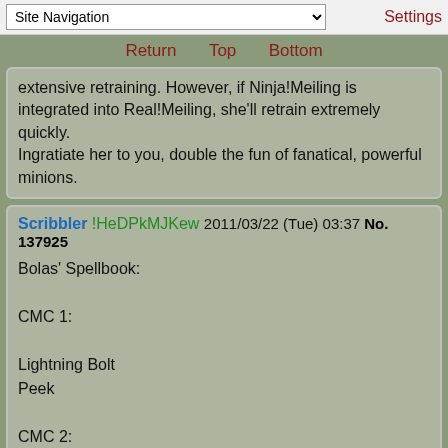Site Navigation | Settings
Return  Top  Bottom
extensive retraining. However, if Ninja!Meiling is integrated into Real!Meiling, she'll retrain extremely quickly.
Ingratiate her to you, double the fun of fanatical, powerful minions.
Scribbler !HeDPkMJKew 2011/03/22 (Tue) 03:37 No. 137925
Bolas' Spellbook:

CMC 1:

Lightning Bolt
Peek

CMC 2:

Mana Leak
Trickbind
P...